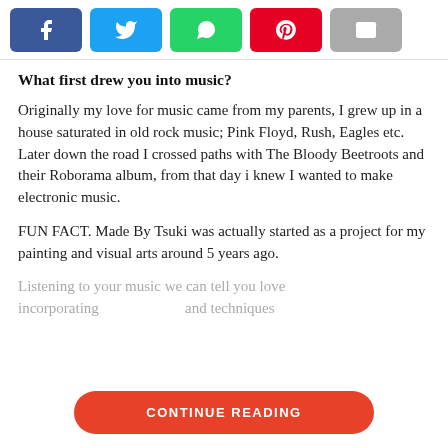[Figure (infographic): Social share buttons: Facebook (blue), Twitter (light blue), WhatsApp (green), Pinterest (red), Email (gray)]
What first drew you into music?
Originally my love for music came from my parents, I grew up in a house saturated in old rock music; Pink Floyd, Rush, Eagles etc. Later down the road I crossed paths with The Bloody Beetroots and their Roborama album, from that day i knew I wanted to make electronic music.
FUN FACT. Made By Tsuki was actually started as a project for my painting and visual arts around 5 years ago.
Listening to your music we can tell you love incorporating and techniques ...